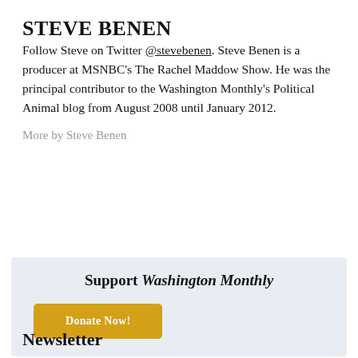STEVE BENEN
Follow Steve on Twitter @stevebenen. Steve Benen is a producer at MSNBC's The Rachel Maddow Show. He was the principal contributor to the Washington Monthly's Political Animal blog from August 2008 until January 2012.
More by Steve Benen
Support Washington Monthly
Donate Now!
Newsletter